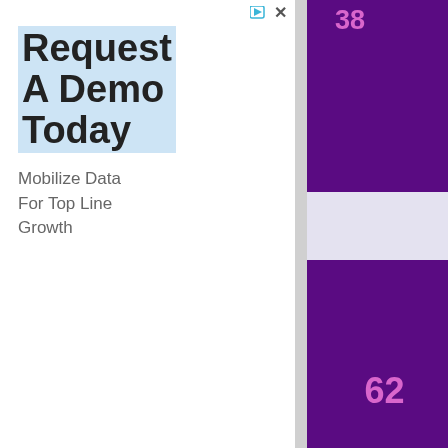[Figure (screenshot): Partial web page screenshot showing a numbered list with 'Photo Not Available (contribution appreciated)' entries. Number 38 is partially visible at top, number 62 is fully visible in the center row. Left side shows an advertisement sidebar: 'Request A Demo Today / Mobilize Data For Top Line Growth'. Bottom shows a banner ad for 'tally - Fast credit card payoff' with a 'Download Now' button.]
38
Photo Not Available
(contribution appreciated)
62
Photo Not Available
(contribution appreciated)
Request A Demo Today
Mobilize Data For Top Line Growth
tally
Fast credit card payoff
Download Now